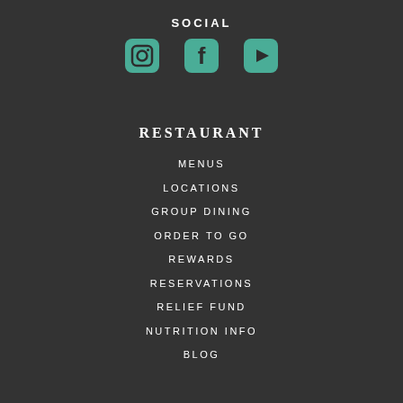SOCIAL
[Figure (illustration): Three social media icons: Instagram, Facebook, YouTube, rendered as teal/green rounded square icons]
RESTAURANT
MENUS
LOCATIONS
GROUP DINING
ORDER TO GO
REWARDS
RESERVATIONS
RELIEF FUND
NUTRITION INFO
BLOG